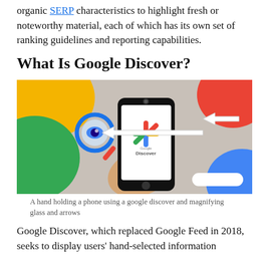organic SERP characteristics to highlight fresh or noteworthy material, each of which has its own set of ranking guidelines and reporting capabilities.
What Is Google Discover?
[Figure (photo): A hand holding a phone using a google discover and magnifying glass and arrows. Colorful graphic with Google Discover logo on phone screen, magnifying glass with blue eye icon, white arrows, and colorful abstract shapes (yellow, green, red, blue) in the background.]
A hand holding a phone using a google discover and magnifying glass and arrows
Google Discover, which replaced Google Feed in 2018, seeks to display users' hand-selected information